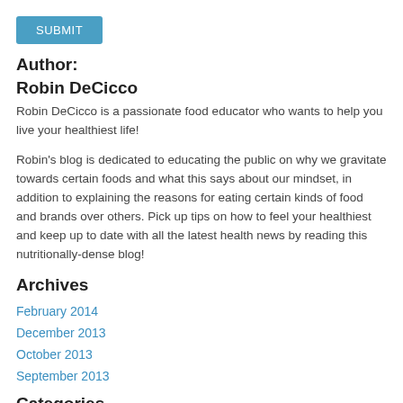SUBMIT
Author:
Robin DeCicco
Robin DeCicco is a passionate food educator who wants to help you live your healthiest life!
Robin's blog is dedicated to educating the public on why we gravitate towards certain foods and what this says about our mindset, in addition to explaining the reasons for eating certain kinds of food and brands over others. Pick up tips on how to feel your healthiest and keep up to date with all the latest health news by reading this nutritionally-dense blog!
Archives
February 2014
December 2013
October 2013
September 2013
Categories